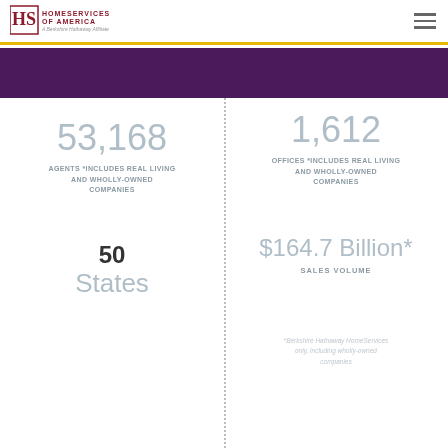[Figure (logo): HomeServices of America - A Berkshire Hathaway Affiliate logo]
53,168
AGENTS *INCLUDES REAL LIVING AND WHOLLY-OWNED COMPANIES
1,612
OFFICES *INCLUDES REAL LIVING AND WHOLLY-OWNED COMPANIES
50
States
$164.7 Billion*
SALES VOLUME
*Berkshire Hathaway HomeServices only, including wholly-owned companies